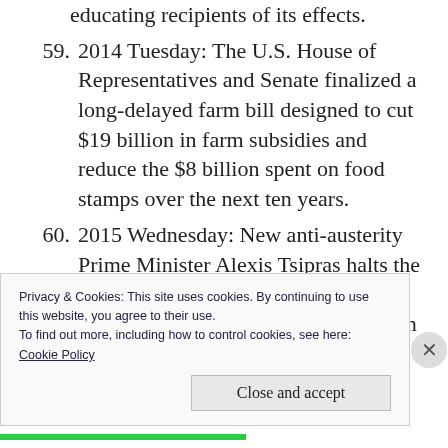educating recipients of its effects.
59. 2014 Tuesday: The U.S. House of Representatives and Senate finalized a long-delayed farm bill designed to cut $19 billion in farm subsidies and reduce the $8 billion spent on food stamps over the next ten years.
60. 2015 Wednesday: New anti-austerity Prime Minister Alexis Tsipras halts the public asset privatizations required under Greece’s bailout agreement with its foreign creditors;
Privacy & Cookies: This site uses cookies. By continuing to use this website, you agree to their use.
To find out more, including how to control cookies, see here:
Cookie Policy
Close and accept